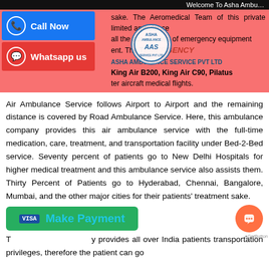Welcome To Asha Ambu…
sake. The Aeromedical Team of this private limited ambulance all the accessories of emergency equipment ent. The Taste air charter ambulance or King Air B200, King Air C90, Pilatus ter aircraft medical flights.
[Figure (logo): Asha Ambulance Service Pvt Ltd logo with EMERGENCY text]
Air Ambulance Service follows Airport to Airport and the remaining distance is covered by Road Ambulance Service. Here, this ambulance company provides this air ambulance service with the full-time medication, care, treatment, and transportation facility under Bed-2-Bed service. Seventy percent of patients go to New Delhi Hospitals for higher medical treatment and this ambulance service also assists them. Thirty Percent of Patients go to Hyderabad, Chennai, Bangalore, Mumbai, and the other major cities for their patients' treatment sake.
[Figure (screenshot): Make Payment button (green) with Visa icon and cyan text]
provides all over India patients transportation privileges, therefore the patient can go